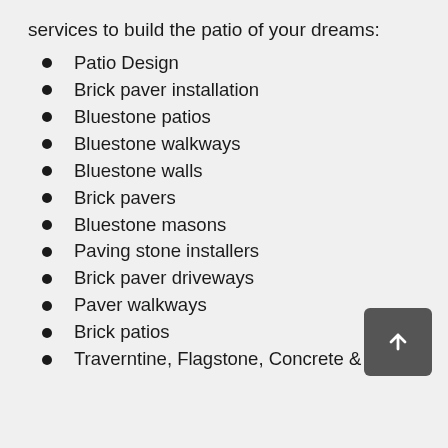services to build the patio of your dreams:
Patio Design
Brick paver installation
Bluestone patios
Bluestone walkways
Bluestone walls
Brick pavers
Bluestone masons
Paving stone installers
Brick paver driveways
Paver walkways
Brick patios
Traverntine, Flagstone, Concrete & Stone